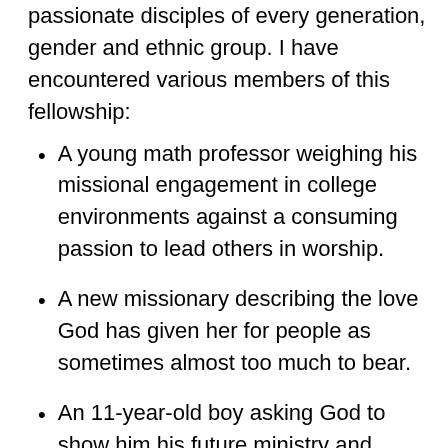passionate disciples of every generation, gender and ethnic group. I have encountered various members of this fellowship:
A young math professor weighing his missional engagement in college environments against a consuming passion to lead others in worship.
A new missionary describing the love God has given her for people as sometimes almost too much to bear.
An 11-year-old boy asking God to show him his future ministry and responding to God's tug on his heart toward global missions.